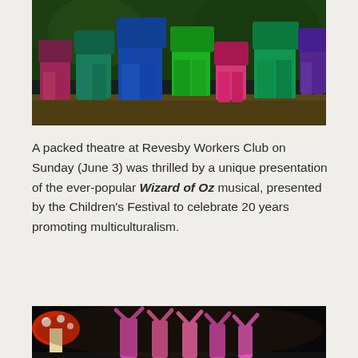[Figure (photo): Performers in colorful costumes (blue, green, pink, teal) dancing on a stage at Revesby Workers Club. The stage has a dark background with green lighting. Performers wearing baggy pants and bright tops are visible from the waist down.]
A packed theatre at Revesby Workers Club on Sunday (June 3) was thrilled by a unique presentation of the ever-popular Wizard of Oz musical, presented by the Children's Festival to celebrate 20 years promoting multiculturalism.
[Figure (photo): Performers in pink/colorful costumes dancing on a dark stage with arms raised. A large red and white mushroom prop is visible on the left side of the stage.]